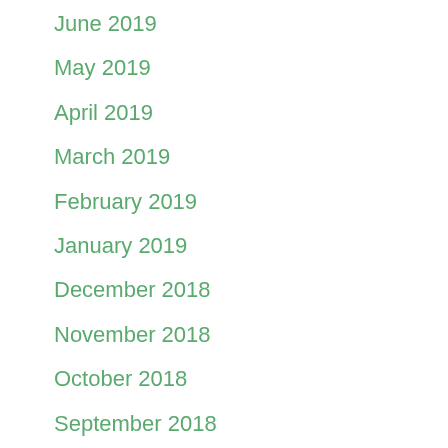June 2019
May 2019
April 2019
March 2019
February 2019
January 2019
December 2018
November 2018
October 2018
September 2018
August 2018
July 2018
June 2018
May 2018
April 2018
March 2018